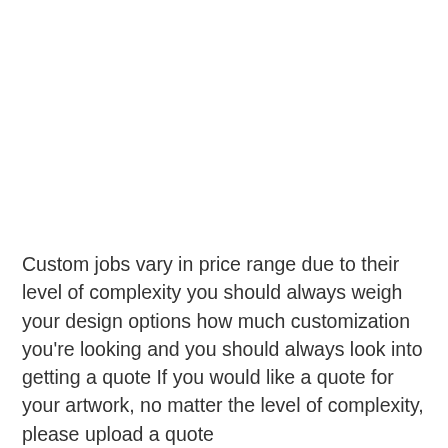Custom jobs vary in price range due to their level of complexity you should always weigh your design options how much customization you're looking and you should always look into getting a quote If you would like a quote for your artwork, no matter the level of complexity, please upload a quote